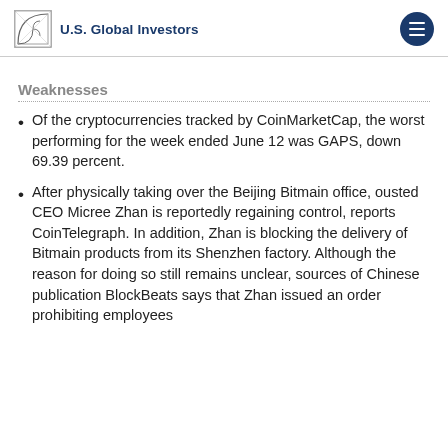U.S. Global Investors
Weaknesses
Of the cryptocurrencies tracked by CoinMarketCap, the worst performing for the week ended June 12 was GAPS, down 69.39 percent.
After physically taking over the Beijing Bitmain office, ousted CEO Micree Zhan is reportedly regaining control, reports CoinTelegraph. In addition, Zhan is blocking the delivery of Bitmain products from its Shenzhen factory. Although the reason for doing so still remains unclear, sources of Chinese publication BlockBeats says that Zhan issued an order prohibiting employees